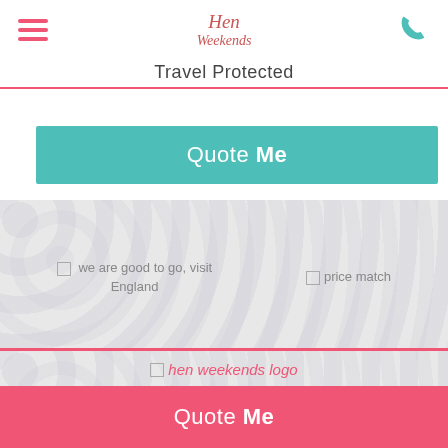Hen Weekends — Travel Protected
[Figure (screenshot): Quote Me button in teal/turquoise color]
[Figure (screenshot): We are good to go, visit England badge and price match badge on decorative background]
[Figure (logo): hen weekends logo]
sales@henweekends.co.uk
01773 766 000
Contact
Destinations
Quote Me